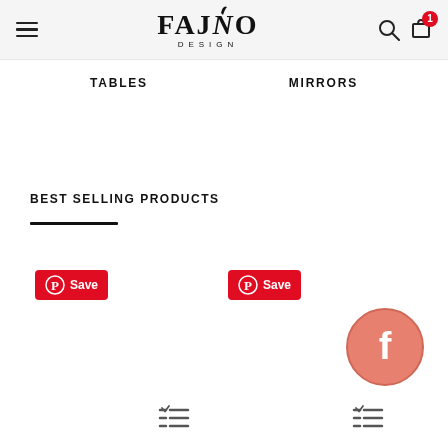FAJNO DESIGN — navigation header with hamburger menu, logo, search and cart icons
TABLES
MIRRORS
BEST SELLING PRODUCTS
[Figure (screenshot): Pinterest Save button (red) on left product card]
[Figure (screenshot): Pinterest Save button (red) on right product card]
[Figure (illustration): Facebook floating share button (salmon/coral circle with F icon)]
[Figure (illustration): Bottom checklist icon left]
[Figure (illustration): Bottom checklist icon right]